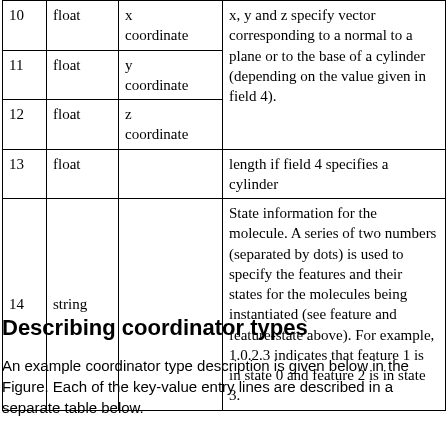| Field | Type | Name | Description |
| --- | --- | --- | --- |
| 10 | float | x coordinate | x, y and z specify vector corresponding to a normal to a plane or to the base of a cylinder (depending on the value given in field 4). |
| 11 | float | y coordinate |  |
| 12 | float | z coordinate |  |
| 13 | float |  | length if field 4 specifies a cylinder |
| 14 | string |  | State information for the molecule. A series of two numbers (separated by dots) is used to specify the features and their states for the molecules being instantiated (see feature and feature-state above). For example, 1.0.2.3 indicates that feature 1 is in state 0 and feature 2 is in state 3. |
Describing coordinator types
An example coordinator type description is given below in the Figure. Each of the key-value entry lines are described in a separate table below.